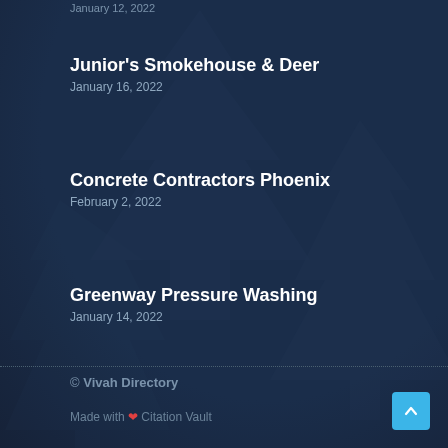January 12, 2022
Junior's Smokehouse & Deer
January 16, 2022
Concrete Contractors Phoenix
February 2, 2022
Greenway Pressure Washing
January 14, 2022
© Vivah Directory
Made with ❤ Citation Vault